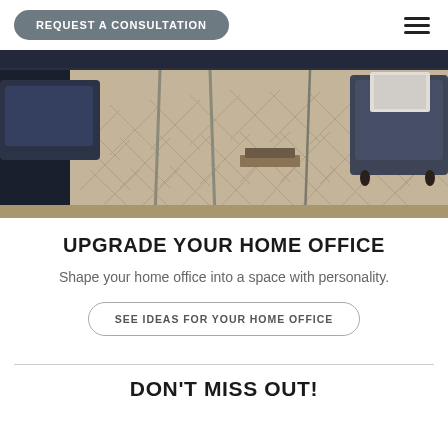REQUEST A CONSULTATION
[Figure (photo): Interior home office with herringbone-patterned rug, dark velvet sofa, and metal side table with books]
UPGRADE YOUR HOME OFFICE
Shape your home office into a space with personality.
SEE IDEAS FOR YOUR HOME OFFICE
DON'T MISS OUT!